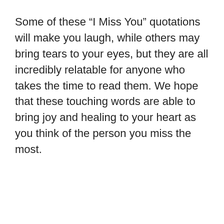Some of these “I Miss You” quotations will make you laugh, while others may bring tears to your eyes, but they are all incredibly relatable for anyone who takes the time to read them. We hope that these touching words are able to bring joy and healing to your heart as you think of the person you miss the most.